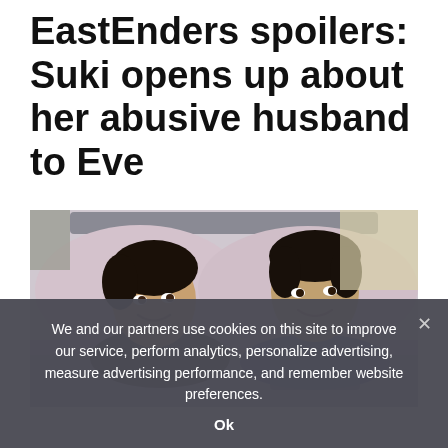EastEnders spoilers: Suki opens up about her abusive husband to Eve
[Figure (photo): Two men lying in bed together smiling, with pink/lavender pillows and duvet, against a grey upholstered headboard.]
We and our partners use cookies on this site to improve our service, perform analytics, personalize advertising, measure advertising performance, and remember website preferences.
Ok